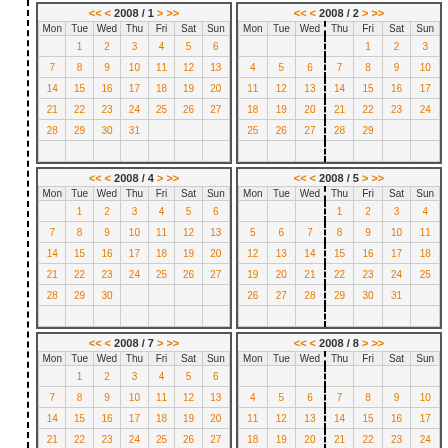[Figure (other): Calendar page showing 2008 months January, February, April, May, July, August in a grid layout with dashed vertical line on left margin]
| Mon | Tue | Wed | Thu | Fri | Sat | Sun |
| --- | --- | --- | --- | --- | --- | --- |
|  | 1 | 2 | 3 | 4 | 5 | 6 |
| 7 | 8 | 9 | 10 | 11 | 12 | 13 |
| 14 | 15 | 16 | 17 | 18 | 19 | 20 |
| 21 | 22 | 23 | 24 | 25 | 26 | 27 |
| 28 | 29 | 30 | 31 |  |  |  |
| Mon | Tue | Wed | Thu | Fri | Sat | Sun |
| --- | --- | --- | --- | --- | --- | --- |
|  |  |  |  | 1 | 2 | 3 |
| 4 | 5 | 6 | 7 | 8 | 9 | 10 |
| 11 | 12 | 13 | 14 | 15 | 16 | 17 |
| 18 | 19 | 20 | 21 | 22 | 23 | 24 |
| 25 | 26 | 27 | 28 | 29 |  |  |
| Mon | Tue | Wed | Thu | Fri | Sat | Sun |
| --- | --- | --- | --- | --- | --- | --- |
|  | 1 | 2 | 3 | 4 | 5 | 6 |
| 7 | 8 | 9 | 10 | 11 | 12 | 13 |
| 14 | 15 | 16 | 17 | 18 | 19 | 20 |
| 21 | 22 | 23 | 24 | 25 | 26 | 27 |
| 28 | 29 | 30 |  |  |  |  |
| Mon | Tue | Wed | Thu | Fri | Sat | Sun |
| --- | --- | --- | --- | --- | --- | --- |
|  |  |  | 1 | 2 | 3 | 4 |
| 5 | 6 | 7 | 8 | 9 | 10 | 11 |
| 12 | 13 | 14 | 15 | 16 | 17 | 18 |
| 19 | 20 | 21 | 22 | 23 | 24 | 25 |
| 26 | 27 | 28 | 29 | 30 | 31 |  |
| Mon | Tue | Wed | Thu | Fri | Sat | Sun |
| --- | --- | --- | --- | --- | --- | --- |
|  | 1 | 2 | 3 | 4 | 5 | 6 |
| 7 | 8 | 9 | 10 | 11 | 12 | 13 |
| 14 | 15 | 16 | 17 | 18 | 19 | 20 |
| 21 | 22 | 23 | 24 | 25 | 26 | 27 |
| Mon | Tue | Wed | Thu | Fri | Sat | Sun |
| --- | --- | --- | --- | --- | --- | --- |
|  |  |  |  |  |  |  |
| 4 | 5 | 6 | 7 | 8 | 9 | 10 |
| 11 | 12 | 13 | 14 | 15 | 16 | 17 |
| 18 | 19 | 20 | 21 | 22 | 23 | 24 |